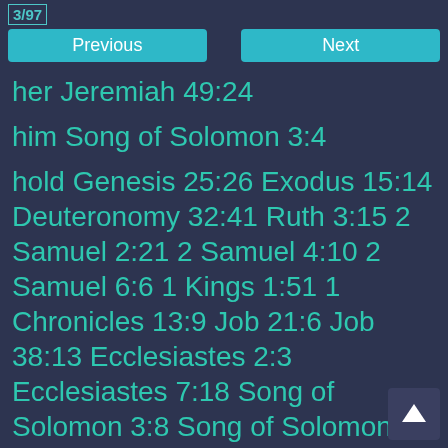3/97
Previous | Next
her Jeremiah 49:24
him Song of Solomon 3:4
hold Genesis 25:26 Exodus 15:14 Deuteronomy 32:41 Ruth 3:15 2 Samuel 2:21 2 Samuel 4:10 2 Samuel 6:6 1 Kings 1:51 1 Chronicles 13:9 Job 21:6 Job 38:13 Ecclesiastes 2:3 Ecclesiastes 7:18 Song of Solomon 3:8 Song of Solomon 7:8 Isaiah 5:29 Ezekiel 41:6
holden Psalms 73:23